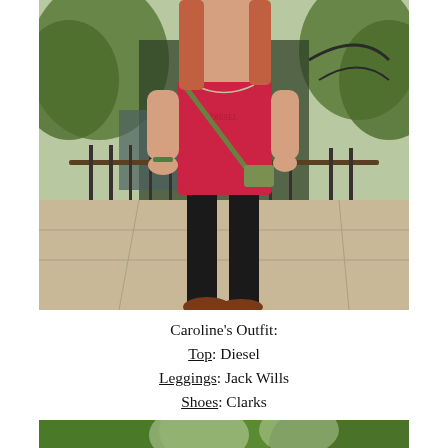[Figure (photo): A woman wearing a pink/red Diesel top, black leggings, brown Clarks shoes, and a green crossbody bag, standing on a paved path near a pond with ornamental iron railings and trees in the background.]
Caroline's Outfit:
Top: Diesel
Leggings: Jack Wills
Shoes: Clarks
Bag: Shop in London
[Figure (photo): Partial outdoor photo showing trees with green foliage against a bright sky, cropped at the bottom of the page.]